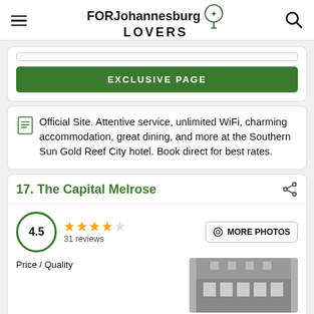FOR Johannesburg LOVERS
EXCLUSIVE PAGE
Official Site. Attentive service, unlimited WiFi, charming accommodation, great dining, and more at the Southern Sun Gold Reef City hotel. Book direct for best rates.
17. The Capital Melrose
4.5 · 31 reviews · Price / Quality
MORE PHOTOS